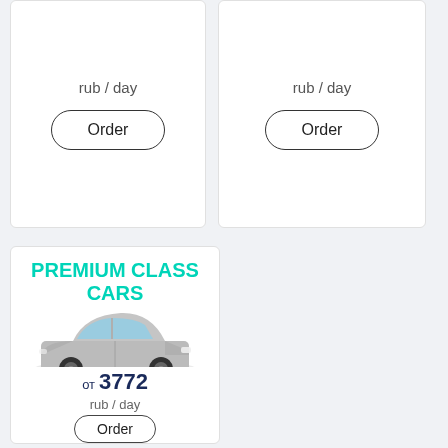rub / day
Order
rub / day
Order
PREMIUM CLASS CARS
[Figure (photo): Silver Kia Sportage SUV car photograph]
от 3772
rub / day
Order